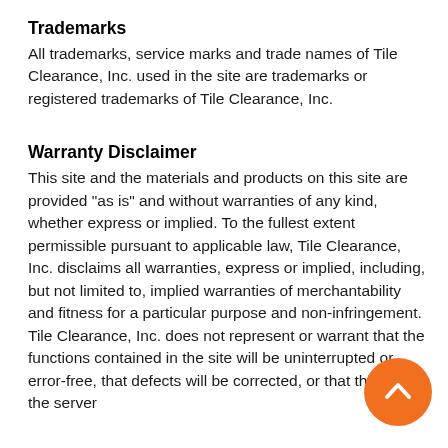Trademarks
All trademarks, service marks and trade names of Tile Clearance, Inc. used in the site are trademarks or registered trademarks of Tile Clearance, Inc.
Warranty Disclaimer
This site and the materials and products on this site are provided "as is" and without warranties of any kind, whether express or implied. To the fullest extent permissible pursuant to applicable law, Tile Clearance, Inc. disclaims all warranties, express or implied, including, but not limited to, implied warranties of merchantability and fitness for a particular purpose and non-infringement. Tile Clearance, Inc. does not represent or warrant that the functions contained in the site will be uninterrupted or error-free, that defects will be corrected, or that this site or the server